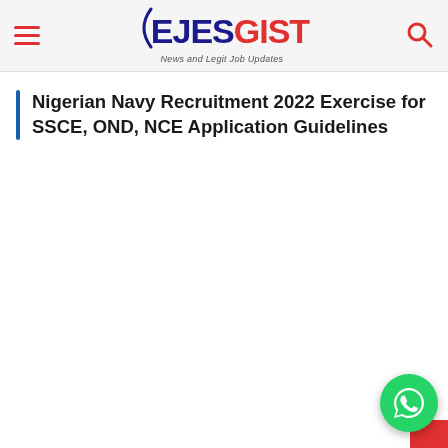EJESGIST — News and Legit Job Updates
Nigerian Navy Recruitment 2022 Exercise for SSCE, OND, NCE Application Guidelines
[Figure (logo): EJESGIST website logo with arc bracket, 'EJES' in dark blue, 'GIST' in red, tagline 'News and Legit Job Updates']
[Figure (other): WhatsApp floating action button (green circle with phone icon) at bottom right corner]